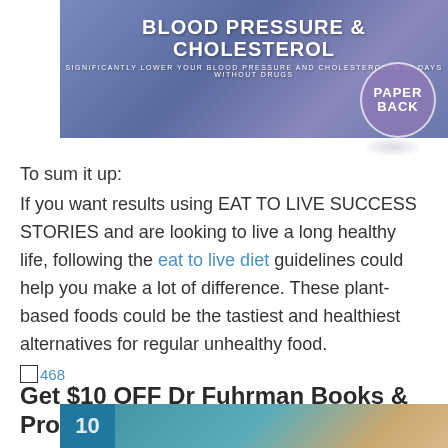[Figure (photo): Book cover for a health book about Blood Pressure & Cholesterol, with a purple/blue background and a 'PAPERBACK' badge circle in bottom right.]
To sum it up:
If you want results using EAT TO LIVE SUCCESS STORIES and are looking to live a long healthy life, following the eat to live diet guidelines could help you make a lot of difference. These plant-based foods could be the tastiest and healthiest alternatives for regular unhealthy food.
[Figure (other): Broken image placeholder labeled '468']
Get $10 OFF Dr Fuhrman Books & Products
[Figure (photo): Partial book cover image at bottom, teal and warm-toned background with a number '10' visible.]